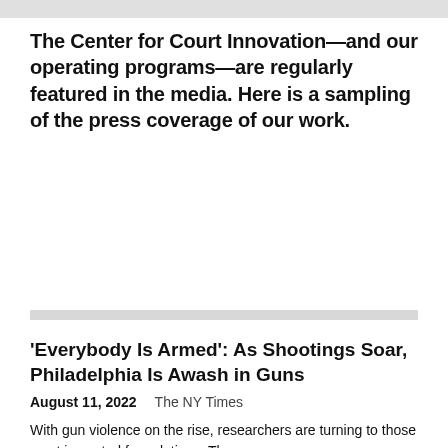The Center for Court Innovation—and our operating programs—are regularly featured in the media. Here is a sampling of the press coverage of our work.
'Everybody Is Armed': As Shootings Soar, Philadelphia Is Awash in Guns
August 11, 2022    The NY Times
With gun violence on the rise, researchers are turning to those most impacted for solutions. The